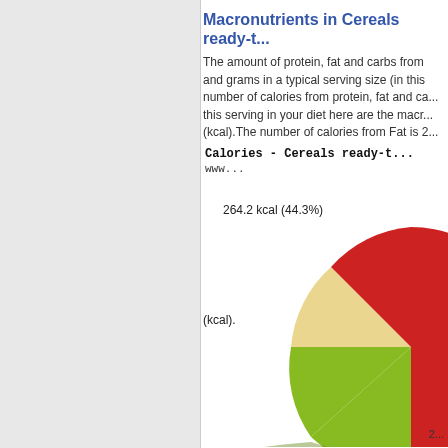Macronutrients in Cereals ready-t...
The amount of protein, fat and carbs from and grams in a typical serving size (in this number of calories from protein, fat and ca... this serving in your diet here are the macr... (kcal).The number of calories from Fat is 2...
[Figure (pie-chart): Pie chart showing macronutrient calorie breakdown. Visible label: 264.2 kcal (44.3%). Chart shows red (large, ~44%), green (medium, ~small), and possibly another slice. Partial view — chart is cropped at right edge.]
(kcal).
Milligrams of potassium in granol...
This list of 12 types of granola, is brought ... Cereals ready-to-eat, granola, homema... KELLOGG'S Low Fat Granola with Rais... per 100g. The nutritional potassium conte... serving sizes. Simply click on a food item ... full dietary nutritional breakdown to answ...